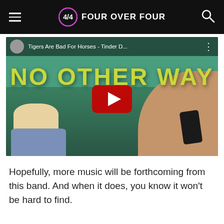FOUR OVER FOUR
[Figure (screenshot): YouTube video thumbnail for 'Tigers Are Bad For Horses - Tinder D...' showing text 'NO OTHER WAY' in large yellow letters over an outdoor scene, with a red YouTube play button in the center.]
Hopefully, more music will be forthcoming from this band. And when it does, you know it won't be hard to find.